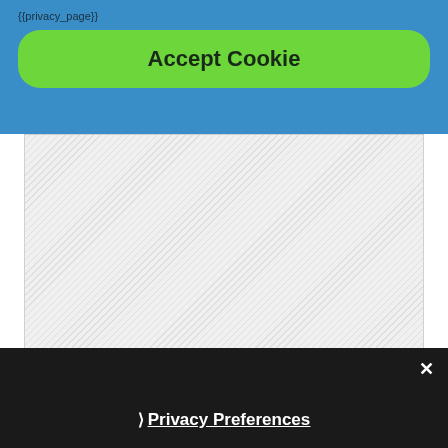{{privacy_page}}
Accept Cookie
[Figure (screenshot): Light gray hatched content area below the blue banner]
× Privacy Preferences